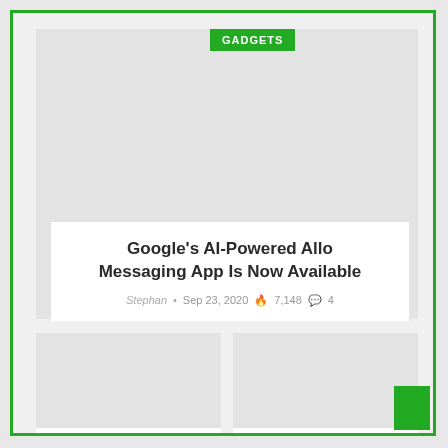GADGETS
[Figure (photo): Hero image placeholder - light gray rectangle]
Google's AI-Powered Allo Messaging App Is Now Available
Stephan • Sep 23, 2020 🔥 7,148 💬 4
[Figure (photo): Article thumbnail placeholder left - light gray rectangle]
[Figure (photo): Article thumbnail placeholder right - light gray rectangle]
Do We Really Need
Tesla Is Upgrading Radar